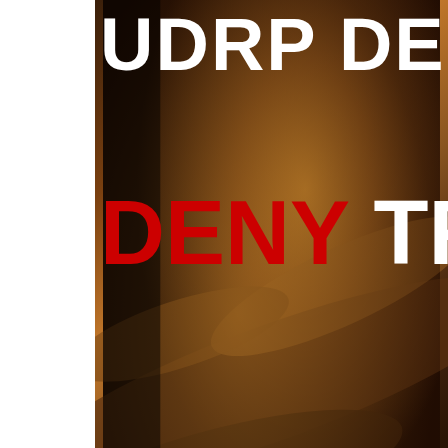[Figure (photo): Close-up photograph of a wooden judge's gavel with dramatic lighting on dark brown background. Overlaid text reads 'UDRP DE' in large white letters at top, and 'DENY TR' on a second line with DENY in red and TR in white.]
The domain transfe
[Figure (infographic): Blue banner/advertisement with white bold text reading 'The most in-depth analys of the global domain ma' and partial URL text below. Decorative dot pattern on the right side.]